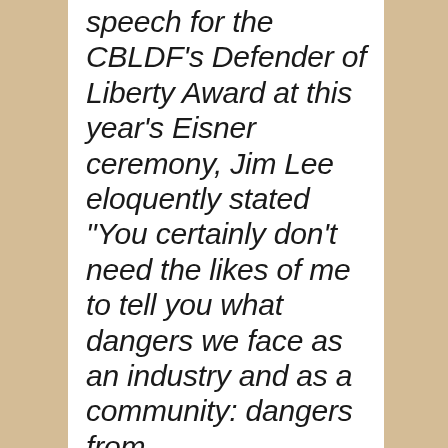speech for the CBLDF's Defender of Liberty Award at this year's Eisner ceremony, Jim Lee eloquently stated "You certainly don't need the likes of me to tell you what dangers we face as an industry and as a community: dangers from